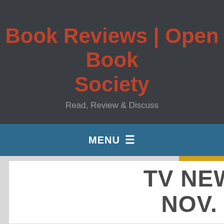Book Reviews | Open Book Society
Read, Review & Discuss
MENU ☰
TV NEWS FOR NOV. 13TH: